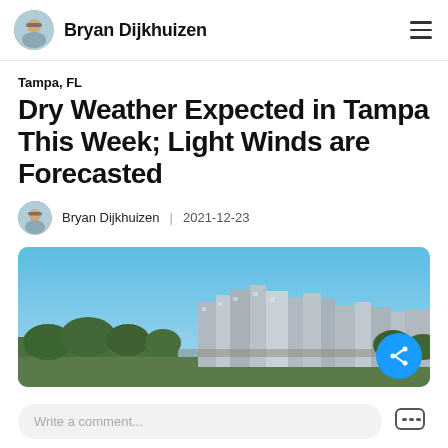Bryan Dijkhuizen
Tampa, FL
Dry Weather Expected in Tampa This Week; Light Winds are Forecasted
Bryan Dijkhuizen | 2021-12-23
[Figure (photo): Aerial/skyline photo of Tampa, FL cityscape with blue sky]
Write a comment...